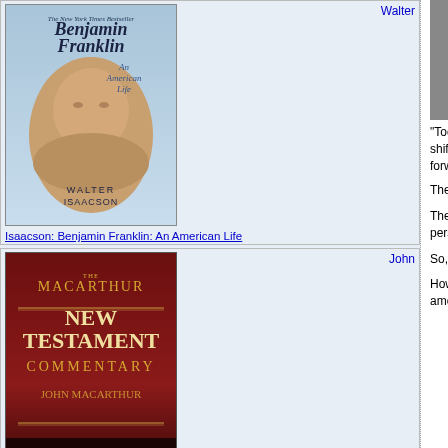[Figure (photo): Book cover: Isaacson Benjamin Franklin An American Life, blue toned portrait]
Walter
Isaacson: Benjamin Franklin: An American Life
[Figure (photo): Book cover: MacArthur First Corinthians New Testament Commentary, dark red cover]
John
MacArthur: First Corinthians: New Testament Commentary (Macarthur New Testament Commentary Serie)
[Figure (photo): Book cover: John C. Maxwell, tan/gold cover]
John C.
[Figure (illustration): 3D cube made of colorful small cubes, Escher-like optical illusion]
right now.  The designed to cr business probl markers, and v meeting with a to the sponso the participant
"Today more th the life of our d provider of {your product or service} blah....The future of our existence paradigm shift, use best practices, some synergy, maximize our lever innovative to push the envelope fo enterprise.  Going forward, think w impact...." (create your own cliche
Then comes the dreaded phrase, "Let's a
The problem with "thinking outside the bo has a box for a reason.  Each individual's a lifetime.  It is individual perspective.  It i work and the world.  Thinking outside the painful task for most people.
So, what do you do?  Instead of thinking o
How do you make a box bigger?  In the lo experiences.  From reading different types cultures to employee swaps among strate the bigger your box will become.  Be c